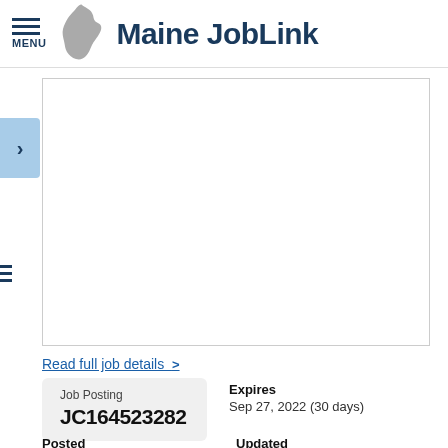Maine JobLink
[Figure (screenshot): Maine JobLink website header with hamburger menu icon, Maine state silhouette logo, and site title 'Maine JobLink' in dark navy bold text]
Read full job details >
| Job Posting | Expires |
| --- | --- |
| JC164523282 | Sep 27, 2022 (30 days) |
| Posted | Updated |
| --- | --- |
| Jul 25, 2020 | Aug 28, 2022 |